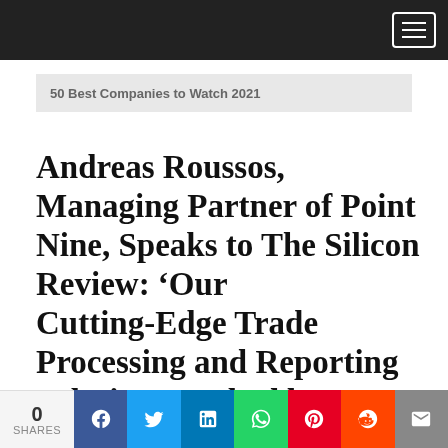50 Best Companies to Watch 2021
Andreas Roussos, Managing Partner of Point Nine, Speaks to The Silicon Review: ‘Our Cutting-Edge Trade Processing and Reporting Solutions Backed by a Team of Driven Professionals Allows us to Stay Ahead of the Upcoming Changes
0 SHARES | Facebook | Twitter | LinkedIn | WhatsApp | Pinterest | Reddit | Email